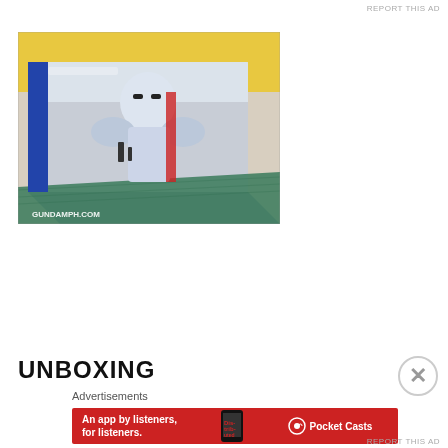REPORT THIS AD
[Figure (photo): Side view of a Gundam model kit box resting on a green cutting mat. The box art shows a metallic mecha/robot design with chrome and blue coloring, red accents. The watermark 'GUNDAMPH.COM' appears in the lower-left corner of the photo.]
UNBOXING
Advertisements
[Figure (screenshot): Red advertisement banner for Pocket Casts app. Text reads 'An app by listeners, for listeners.' with a smartphone image showing 'Distributed' text and the Pocket Casts logo on the right.]
REPORT THIS AD